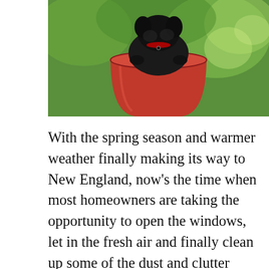[Figure (photo): A small black dog sitting inside a red metal bucket, photographed outdoors with green bokeh background.]
With the spring season and warmer weather finally making its way to New England, now's the time when most homeowners are taking the opportunity to open the windows, let in the fresh air and finally clean up some of the dust and clutter that's settled indoors over the winter months.
While doing some deep cleaning each season is beneficial there are things to be aware of when it comes to the types of cleaning products you